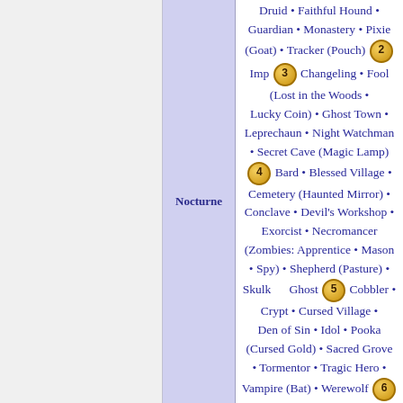Nocturne
Druid • Faithful Hound • Guardian • Monastery • Pixie (Goat) • Tracker (Pouch) 2 Imp 3 Changeling • Fool (Lost in the Woods • Lucky Coin) • Ghost Town • Leprechaun • Night Watchman • Secret Cave (Magic Lamp) 4 Bard • Blessed Village • Cemetery (Haunted Mirror) • Conclave • Devil's Workshop • Exorcist • Necromancer (Zombies: Apprentice • Mason • Spy) • Shepherd (Pasture) • Skulk      Ghost 5 Cobbler • Crypt • Cursed Village • Den of Sin • Idol • Pooka (Cursed Gold) • Sacred Grove • Tormentor • Tragic Hero • Vampire (Bat) • Werewolf 6 Raider Boons: The Earth's Gift • Field • Flame • Forest • Moon •